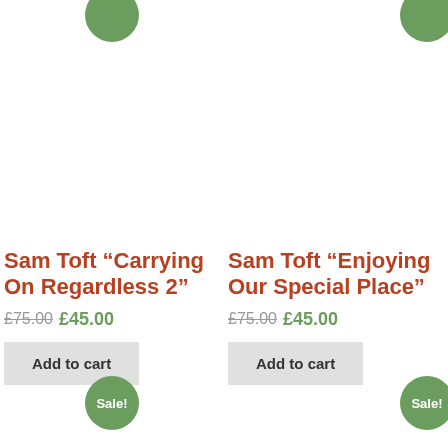[Figure (other): Sale badge (green circle) partially visible at top of left product column]
[Figure (other): Sale badge (green circle) partially visible at top of right product column]
Sam Toft “Carrying On Regardless 2”
£75.00 £45.00
Add to cart
Sam Toft “Enjoying Our Special Place”
£75.00 £45.00
Add to cart
[Figure (other): Sale badge (green circle) at bottom of left product column]
[Figure (other): Sale badge (green circle) partially visible at bottom right corner]